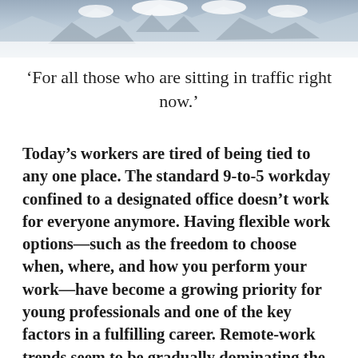[Figure (photo): Mountain landscape photo with snow-covered rocks, partially cut off at the bottom by white page content. Grey and white tones.]
‘For all those who are sitting in traffic right now.’
Today’s workers are tired of being tied to any one place. The standard 9-to-5 workday confined to a designated office doesn’t work for everyone anymore. Having flexible work options—such as the freedom to choose when, where, and how you perform your work—have become a growing priority for young professionals and one of the key factors in a fulfilling career. Remote-work trends seem to be gradually dominating the modern workplace. Why do